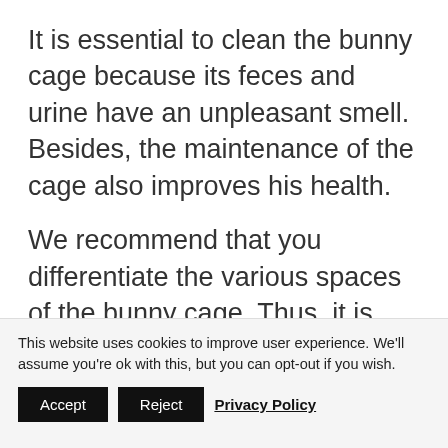It is essential to clean the bunny cage because its feces and urine have an unpleasant smell. Besides, the maintenance of the cage also improves his health.
We recommend that you differentiate the various spaces of the bunny cage. Thus, it is necessary to put a litter box there to teach the bunny to make its toilet.
This website uses cookies to improve user experience. We'll assume you're ok with this, but you can opt-out if you wish.